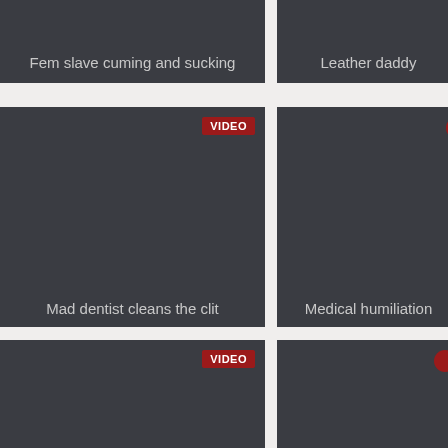[Figure (screenshot): Dark gray card with title 'Fem slave cuming and sucking']
[Figure (screenshot): Dark gray card (partially cropped) with title 'Leather daddy']
[Figure (screenshot): Dark gray card with VIDEO badge and title 'Mad dentist cleans the clit']
[Figure (screenshot): Dark gray card (partially cropped) with red circle badge and title 'Medical humiliation']
[Figure (screenshot): Dark gray card with VIDEO badge, bottom row left]
[Figure (screenshot): Dark gray card (partially cropped) with red circle badge, bottom row right]